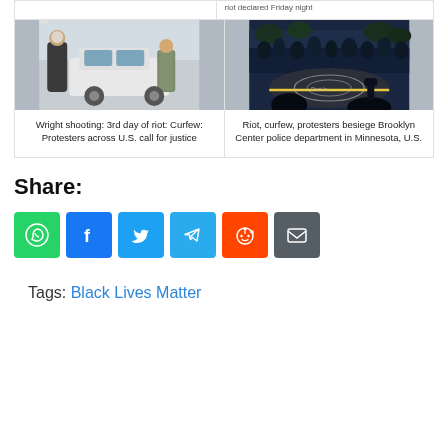[Figure (photo): News article cards showing protest-related stories. Left card: photo of a person being stopped next to a car. Right card: photo of protest crowd gathered on a street with chalk drawings.]
Wright shooting: 3rd day of riot: Curfew: Protesters across U.S. call for justice
Riot, curfew, protesters besiege Brooklyn Center police department in Minnesota, U.S.
Share:
Tags: Black Lives Matter